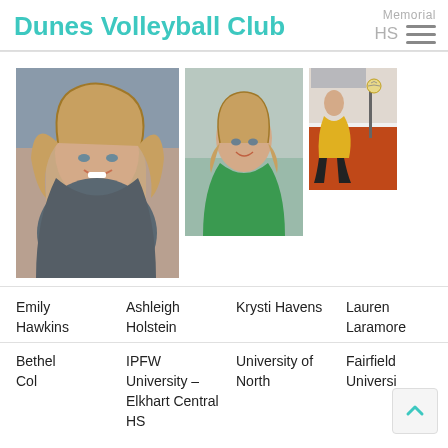Dunes Volleyball Club
Memorial HS
[Figure (photo): Portrait photo of a young woman with long blonde wavy hair, sitting in a car, smiling at the camera.]
[Figure (photo): Portrait photo of a young woman with long brown hair wearing a green top, smiling.]
[Figure (photo): Action photo of a volleyball player in yellow and black uniform on a court.]
Emily Hawkins
Ashleigh Holstein
Krysti Havens
Lauren Laramore
Bethel College
IPFW University – Elkhart Central HS
University of North...
Fairfield University